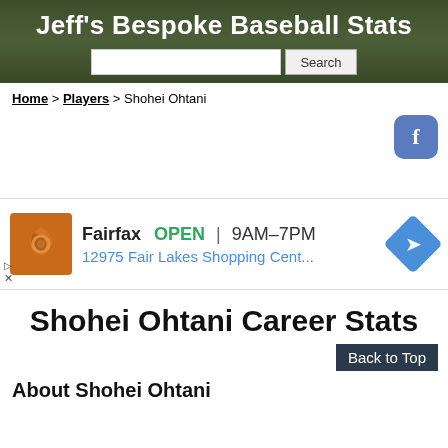Jeff's Bespoke Baseball Stats
Home > Players > Shohei Ohtani
[Figure (screenshot): Facebook share button - blue rounded square with white letter f]
[Figure (screenshot): Advertisement: Fairfax OPEN 9AM-7PM, 12975 Fair Lakes Shopping Cent... with orange swirl logo and blue diamond map icon]
Shohei Ohtani Career Stats
Back to Top
About Shohei Ohtani